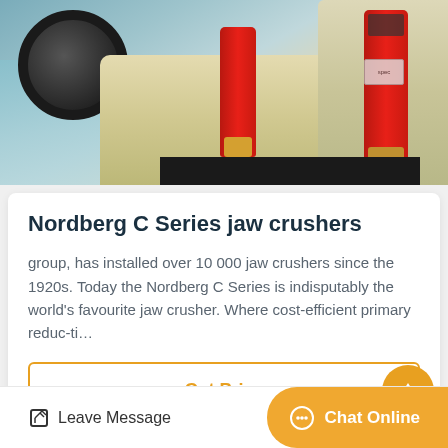[Figure (photo): Industrial jaw crusher machinery with red cylinders and large wheel visible in a factory/exhibition setting]
Nordberg C Series jaw crushers
group, has installed over 10 000 jaw crushers since the 1920s. Today the Nordberg C Series is indisputably the world's favourite jaw crusher. Where cost-efficient primary reduc-ti…
Get Price
Leave Message
Chat Online